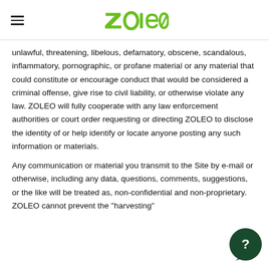ZOLEO (logo with hamburger menu)
unlawful, threatening, libelous, defamatory, obscene, scandalous, inflammatory, pornographic, or profane material or any material that could constitute or encourage conduct that would be considered a criminal offense, give rise to civil liability, or otherwise violate any law. ZOLEO will fully cooperate with any law enforcement authorities or court order requesting or directing ZOLEO to disclose the identity of or help identify or locate anyone posting any such information or materials.
Any communication or material you transmit to the Site by e-mail or otherwise, including any data, questions, comments, suggestions, or the like will be treated as, non-confidential and non-proprietary. ZOLEO cannot prevent the "harvesting"